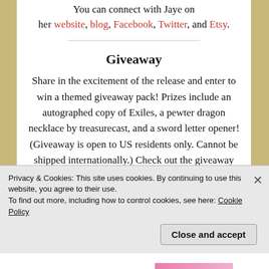You can connect with Jaye on her website, blog, Facebook, Twitter, and Etsy.
Giveaway
Share in the excitement of the release and enter to win a themed giveaway pack! Prizes include an autographed copy of Exiles, a pewter dragon necklace by treasurecast, and a sword letter opener! (Giveaway is open to US residents only. Cannot be shipped internationally.) Check out the giveaway here
Privacy & Cookies: This site uses cookies. By continuing to use this website, you agree to their use.
To find out more, including how to control cookies, see here: Cookie Policy
Close and accept